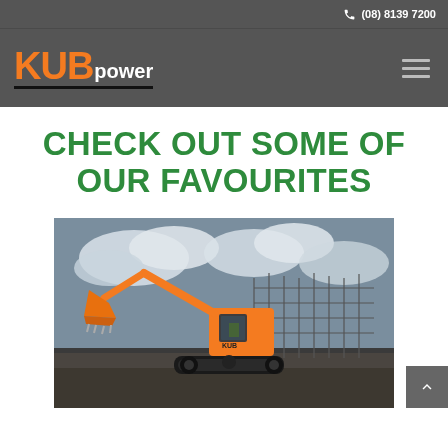(08) 8139 7200
[Figure (logo): KUBpower logo — 'KUB' in orange bold letters, 'power' in white, on dark grey navigation bar with hamburger menu icon]
CHECK OUT SOME OF OUR FAVOURITES
[Figure (photo): Orange Kubota mini excavator on a construction site with cloudy sky background and industrial scaffolding in background]